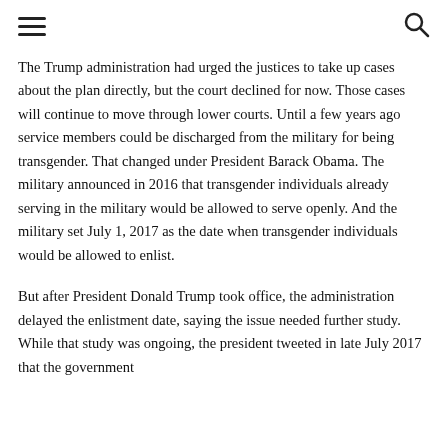☰  🔍
The Trump administration had urged the justices to take up cases about the plan directly, but the court declined for now. Those cases will continue to move through lower courts. Until a few years ago service members could be discharged from the military for being transgender. That changed under President Barack Obama. The military announced in 2016 that transgender individuals already serving in the military would be allowed to serve openly. And the military set July 1, 2017 as the date when transgender individuals would be allowed to enlist.
But after President Donald Trump took office, the administration delayed the enlistment date, saying the issue needed further study. While that study was ongoing, the president tweeted in late July 2017 that the government